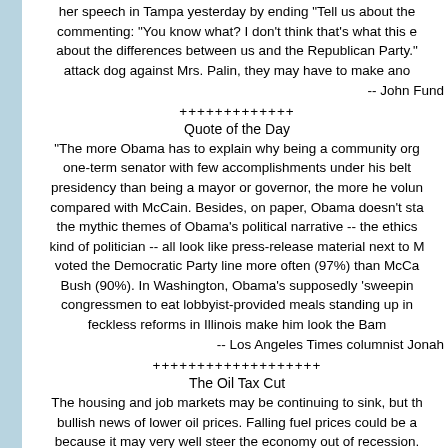her speech in Tampa yesterday by ending "Tell us about the differences between us and the Republican Party." attack dog against Mrs. Palin, they may have to make another commenting: "You know what? I don't think that's what this e about the differences between us and the Republican Party."
-- John Fund
+++++++++++++
Quote of the Day
"The more Obama has to explain why being a community org one-term senator with few accomplishments under his belt presidency than being a mayor or governor, the more he volun compared with McCain. Besides, on paper, Obama doesn't sta the mythic themes of Obama's political narrative -- the ethics kind of politician -- all look like press-release material next to voted the Democratic Party line more often (97%) than McCa Bush (90%). In Washington, Obama's supposedly 'sweepin congressmen to eat lobbyist-provided meals standing up in feckless reforms in Illinois make him look the Bam
-- Los Angeles Times columnist Jonah
+++++++++++++++++++
The Oil Tax Cut
The housing and job markets may be continuing to sink, but th bullish news of lower oil prices. Falling fuel prices could be a because it may very well steer the economy out of recession. barrel on Monday, which is still historically high adjusted for in peak price of $147 in July. Who knows whether the roller coas